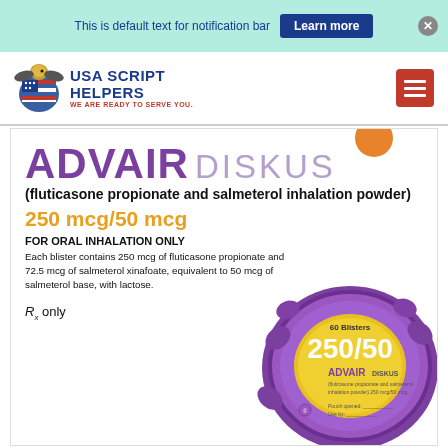This is default text for notification bar | Learn more
[Figure (logo): USA Script Helpers logo with bald eagle and American flag shield, text: USA SCRIPT HELPERS, WE ARE READY TO SERVE YOU.]
ADVAIR DISKUS
(fluticasone propionate and salmeterol inhalation powder)
250 mcg/50 mcg
FOR ORAL INHALATION ONLY
Each blister contains 250 mcg of fluticasone propionate and 72.5 mcg of salmeterol xinafoate, equivalent to 50 mcg of salmeterol base, with lactose.
Rx only
[Figure (photo): Purple Advair Diskus inhaler device with yellow label showing 250/50 dosage and ADVAIR DISKUS branding]